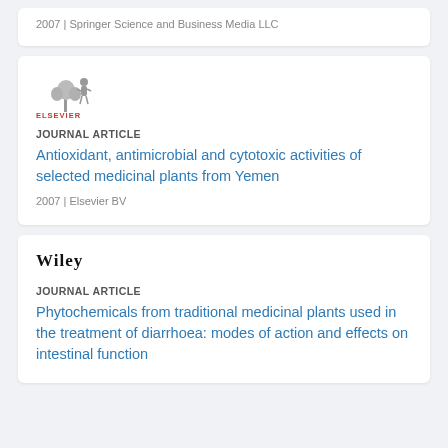2007 | Springer Science and Business Media LLC
[Figure (logo): Elsevier logo with tree and person graphic and ELSEVIER text in orange]
JOURNAL ARTICLE
Antioxidant, antimicrobial and cytotoxic activities of selected medicinal plants from Yemen
2007 | Elsevier BV
[Figure (logo): Wiley logo in bold serif uppercase text]
JOURNAL ARTICLE
Phytochemicals from traditional medicinal plants used in the treatment of diarrhoea: modes of action and effects on intestinal function